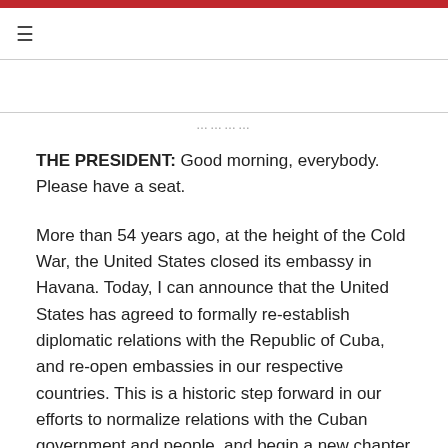≡
THE PRESIDENT:  Good morning, everybody.  Please have a seat.
More than 54 years ago, at the height of the Cold War, the United States closed its embassy in Havana.  Today, I can announce that the United States has agreed to formally re-establish diplomatic relations with the Republic of Cuba, and re-open embassies in our respective countries.  This is a historic step forward in our efforts to normalize relations with the Cuban government and people, and begin a new chapter with our neighbors in the Americas.
When the United States shuttered our embassy in 1961, I don't think anyone expected that it would be more than half